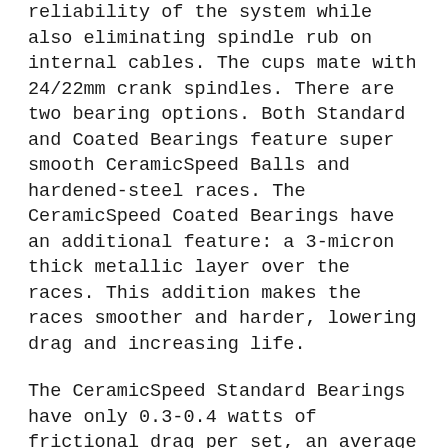reliability of the system while also eliminating spindle rub on internal cables. The cups mate with 24/22mm crank spindles. There are two bearing options. Both Standard and Coated Bearings feature super smooth CeramicSpeed Balls and hardened-steel races. The CeramicSpeed Coated Bearings have an additional feature: a 3-micron thick metallic layer over the races. This addition makes the races smoother and harder, lowering drag and increasing life.
The CeramicSpeed Standard Bearings have only 0.3-0.4 watts of frictional drag per set, an average drag reduction of 75% compared to stock bottom brackets. This is the result of great design, including hardened-steel races and CeramicSpeed Balls that are 100% smoother and 15% harder than the ceramic competition. They also last longer.
The CeramicSpeed Coated Bearings last even longer and feature even lower drag. Life increases by 60%